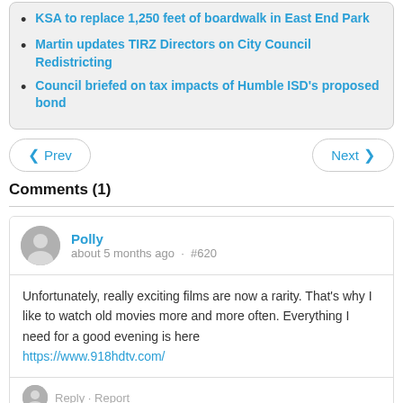KSA to replace 1,250 feet of boardwalk in East End Park
Martin updates TIRZ Directors on City Council Redistricting
Council briefed on tax impacts of Humble ISD's proposed bond
Comments (1)
Polly
about 5 months ago · #620
Unfortunately, really exciting films are now a rarity. That's why I like to watch old movies more and more often. Everything I need for a good evening is here https://www.918hdtv.com/